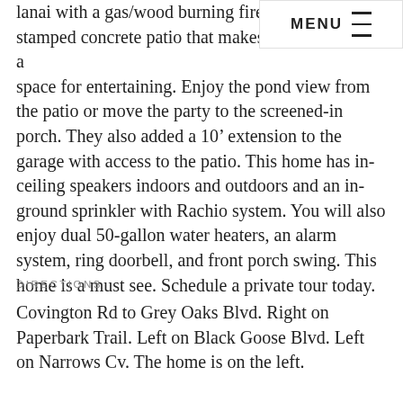lanai with a gas/wood burning fireplace with a stamped concrete patio that makes a space for entertaining. Enjoy the pond view from the patio or move the party to the screened-in porch. They also added a 10' extension to the garage with access to the patio. This home has in-ceiling speakers indoors and outdoors and an in-ground sprinkler with Rachio system. You will also enjoy dual 50-gallon water heaters, an alarm system, ring doorbell, and front porch swing. This home is a must see. Schedule a private tour today.
DIRECTIONS
Covington Rd to Grey Oaks Blvd. Right on Paperbark Trail. Left on Black Goose Blvd. Left on Narrows Cv. The home is on the left.